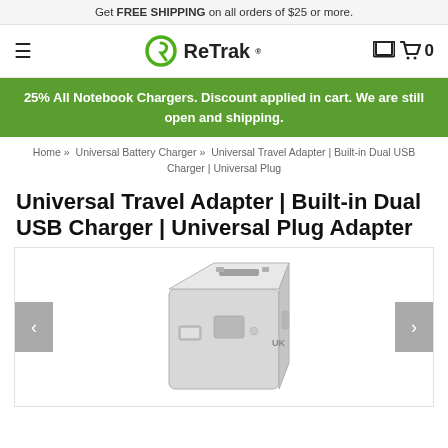Get FREE SHIPPING on all orders of $25 or more.
[Figure (logo): ReTrak brand logo with stylized R icon and hamburger menu, cart with 0 items]
25% All Notebook Chargers. Discount applied in cart. We are still open and shipping.
Home » Universal Battery Charger » Universal Travel Adapter | Built-in Dual USB Charger | Universal Plug
Universal Travel Adapter | Built-in Dual USB Charger | Universal Plug Adapter
[Figure (photo): Universal travel adapter product photo showing a light grey cube-shaped adapter with multiple plug slots on top, USB ports on the side, and a UK label visible. Carousel with left and right navigation arrows on either side.]